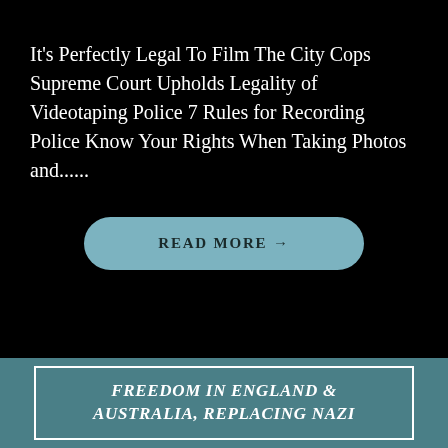It's Perfectly Legal To Film The City Cops Supreme Court Upholds Legality of Videotaping Police 7 Rules for Recording Police Know Your Rights When Taking Photos and......
READ MORE →
FREEDOM IN ENGLAND & AUSTRALIA, REPLACING NAZI